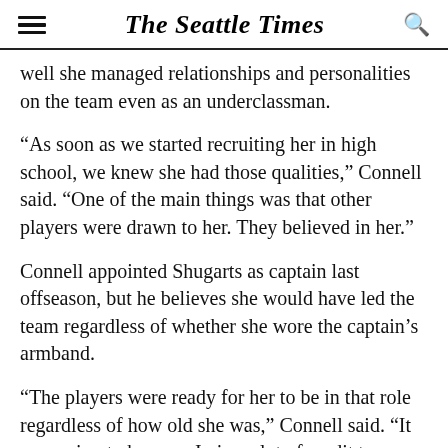The Seattle Times
well she managed relationships and personalities on the team even as an underclassman.
“As soon as we started recruiting her in high school, we knew she had those qualities,” Connell said. “One of the main things was that other players were drawn to her. They believed in her.”
Connell appointed Shugarts as captain last offseason, but he believes she would have led the team regardless of whether she wore the captain’s armband.
“The players were ready for her to be in that role regardless of how old she was,” Connell said. “It was going to happen. I give a lot of credit to Sierra. In order to win, you need good leadership, and she